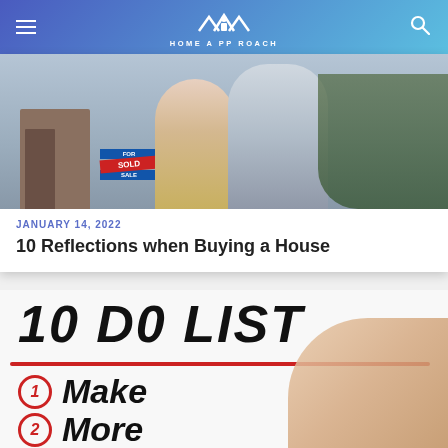HOME A PP ROACH
[Figure (photo): Couple standing in front of a house with a FOR SALE sign showing SOLD on top, smiling]
JANUARY 14, 2022
10 Reflections when Buying a House
[Figure (photo): 10 DO LIST written in black marker on white surface with a red underline, numbered items: 1 Make, 2 More, and hand holding red marker in the right corner]